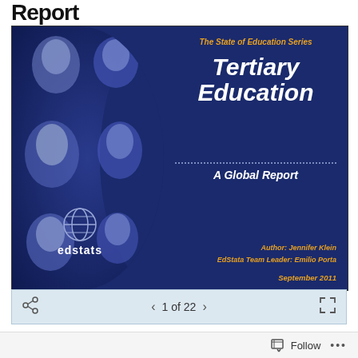Report
[Figure (illustration): Book cover for 'Tertiary Education: A Global Report' from The State of Education Series, published by EdStats. The cover features a collage of diverse faces on a dark blue background on the left panel with an edstats logo (globe icon), and text content on the right panel. Author: Jennifer Klein, EdStats Team Leader: Emilio Porta, September 2011.]
1 of 22
Follow